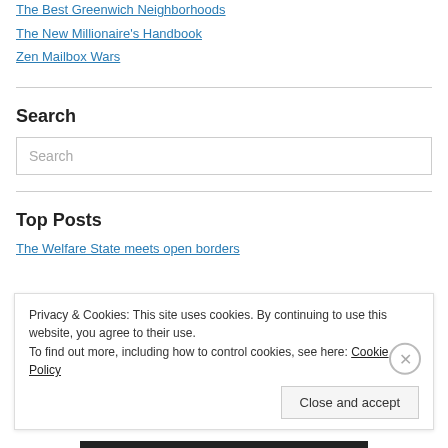The Best Greenwich Neighborhoods
The New Millionaire's Handbook
Zen Mailbox Wars
Search
Search
Top Posts
The Welfare State meets open borders
Privacy & Cookies: This site uses cookies. By continuing to use this website, you agree to their use.
To find out more, including how to control cookies, see here: Cookie Policy
Close and accept